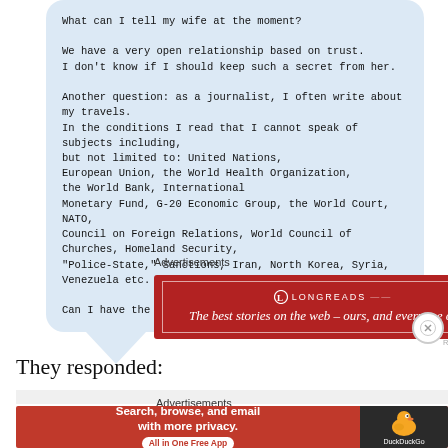What can I tell my wife at the moment?

We have a very open relationship based on trust.
I don't know if I should keep such a secret from her.

Another question: as a journalist, I often write about my travels.
In the conditions I read that I cannot speak of subjects including,
but not limited to: United Nations,
European Union, the World Health Organization,
the World Bank, International
Monetary Fund, G-20 Economic Group, the World Court, NATO,
Council on Foreign Relations, World Council of Churches, Homeland Security,
"Police-State," Sanctions, Iran, North Korea, Syria, Venezuela etc.

Can I have the complete list, please? Just to be sure.
Advertisements
[Figure (other): Longreads advertisement: dark red banner with logo and text 'The best stories on the web – ours, and everyone else's.']
REPORT THIS AD
They responded:
Advertisements
[Figure (other): DuckDuckGo advertisement: red background with text 'Search, browse, and email with more privacy. All in One Free App' and DuckDuckGo logo on dark right panel.]
REPORT THIS AD